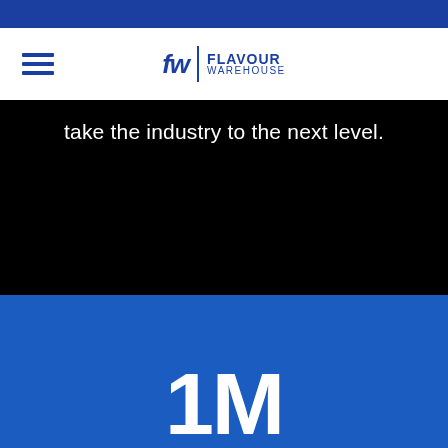[Figure (logo): Flavour Warehouse logo with hamburger menu icon in navigation header]
take the industry to the next level.
1M